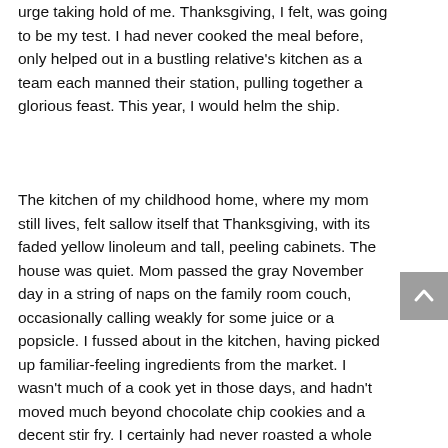urge taking hold of me. Thanksgiving, I felt, was going to be my test. I had never cooked the meal before, only helped out in a bustling relative's kitchen as a team each manned their station, pulling together a glorious feast. This year, I would helm the ship.
The kitchen of my childhood home, where my mom still lives, felt sallow itself that Thanksgiving, with its faded yellow linoleum and tall, peeling cabinets. The house was quiet. Mom passed the gray November day in a string of naps on the family room couch, occasionally calling weakly for some juice or a popsicle. I fussed about in the kitchen, having picked up familiar-feeling ingredients from the market. I wasn't much of a cook yet in those days, and hadn't moved much beyond chocolate chip cookies and a decent stir fry. I certainly had never roasted a whole bird or pulled off a multi-course meal.